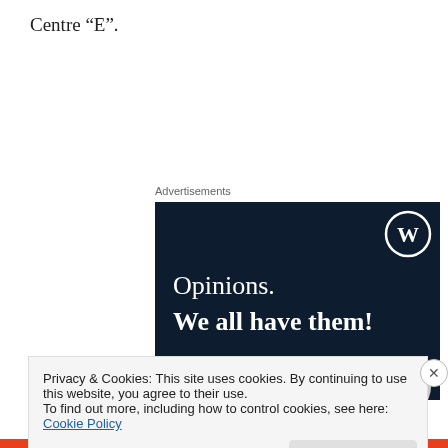Centre “E”.
Advertisements
[Figure (illustration): WordPress advertisement banner with dark navy background, WordPress logo (W in circle) top right, text 'Opinions. We all have them!' in white, pink button and grey circle at bottom.]
Privacy & Cookies: This site uses cookies. By continuing to use this website, you agree to their use.
To find out more, including how to control cookies, see here: Cookie Policy
Close and accept